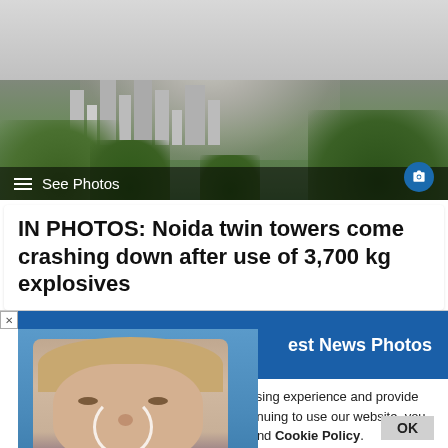[Figure (photo): Explosion/demolition scene with large smoke cloud rising above city buildings, trees visible in foreground, with 'See Photos' overlay bar and camera icon]
IN PHOTOS: Noida twin towers come crashing down after use of 3,700 kg explosives
[Figure (photo): Partially obscured popup showing a woman's portrait photo (blonde hair, formal attire) on blue background, with 'est News Photos' text visible on blue bar and a red circle partially visible]
ilar technologies, to enhance your browsing experience and provide personalised recommendations. By continuing to use our website, you agree to our Privacy Policy and Cookie Policy.